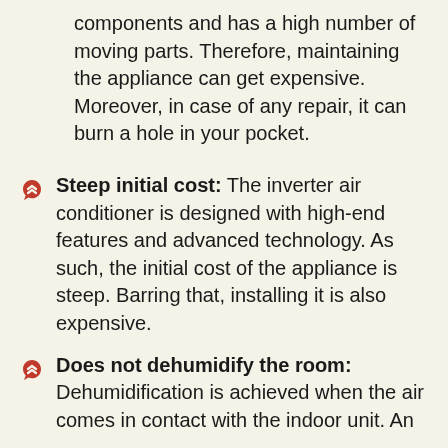components and has a high number of moving parts. Therefore, maintaining the appliance can get expensive. Moreover, in case of any repair, it can burn a hole in your pocket.
Steep initial cost: The inverter air conditioner is designed with high-end features and advanced technology. As such, the initial cost of the appliance is steep. Barring that, installing it is also expensive.
Does not dehumidify the room: Dehumidification is achieved when the air comes in contact with the indoor unit. An